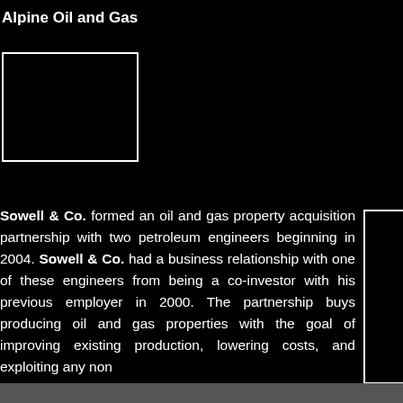Alpine Oil and Gas
[Figure (other): Dark image placeholder box with white border]
Sowell & Co. formed an oil and gas property acquisition partnership with two petroleum engineers beginning in 2004. Sowell & Co. had a business relationship with one of these engineers from being a co-investor with his previous employer in 2000. The partnership buys producing oil and gas properties with the goal of improving existing production, lowering costs, and exploiting any non